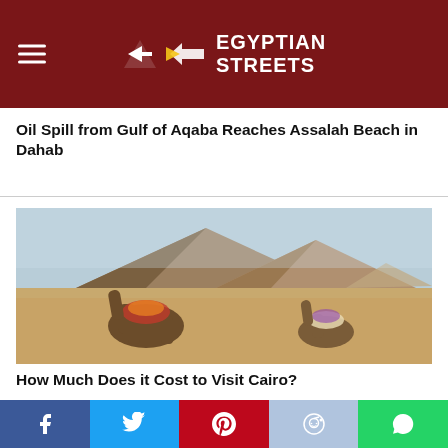Egyptian Streets
Oil Spill from Gulf of Aqaba Reaches Assalah Beach in Dahab
[Figure (photo): Photo of the Egyptian pyramids at Giza with two camels in the foreground on sandy desert ground]
How Much Does it Cost to Visit Cairo?
BUZZ
[Figure (photo): Close-up photo of a baked dish with tomatoes and chicken in a glass baking tray]
Social share bar: Facebook, Twitter, Pinterest, Reddit, WhatsApp